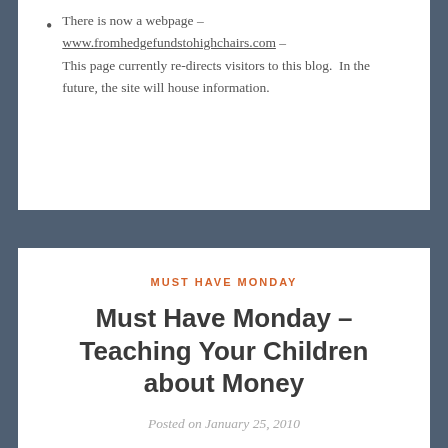There is now a webpage – www.fromhedgefundstohighchairs.com – This page currently re-directs visitors to this blog.  In the future, the site will house information.
MUST HAVE MONDAY
Must Have Monday – Teaching Your Children about Money
Posted on January 25, 2010